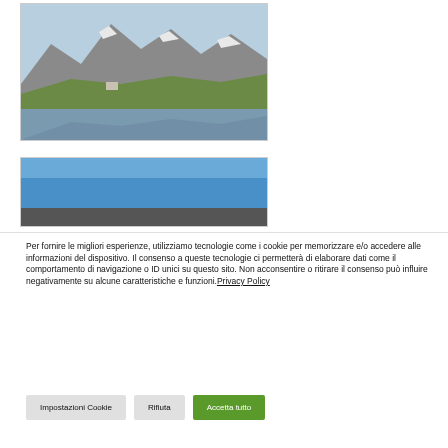[Figure (photo): Mountain landscape with rocky peaks, snow patches, green slopes, and a reflective lake in the foreground]
[Figure (photo): Partial photo showing a clear blue sky, appears to be another mountain/outdoor scene]
Per fornire le migliori esperienze, utilizziamo tecnologie come i cookie per memorizzare e/o accedere alle informazioni del dispositivo. Il consenso a queste tecnologie ci permetterà di elaborare dati come il comportamento di navigazione o ID unici su questo sito. Non acconsentire o ritirare il consenso può influire negativamente su alcune caratteristiche e funzioni.Privacy Policy
Impostazioni Cookie
Rifiuta
Accetta tutto